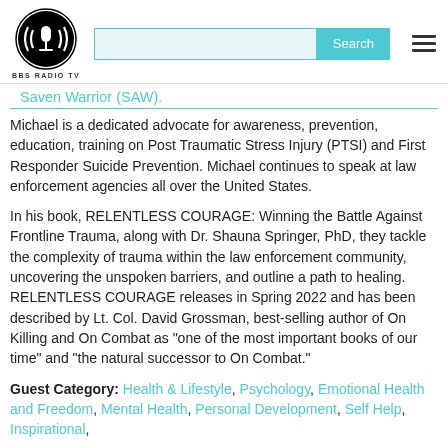[Figure (logo): BBS Radio TV logo — circular black and white logo with a microphone icon and sound waves]
Saven Warrior (SAW).
Michael is a dedicated advocate for awareness, prevention, education, training on Post Traumatic Stress Injury (PTSI) and First Responder Suicide Prevention. Michael continues to speak at law enforcement agencies all over the United States.
In his book, RELENTLESS COURAGE: Winning the Battle Against Frontline Trauma, along with Dr. Shauna Springer, PhD, they tackle the complexity of trauma within the law enforcement community, uncovering the unspoken barriers, and outline a path to healing. RELENTLESS COURAGE releases in Spring 2022 and has been described by Lt. Col. David Grossman, best-selling author of On Killing and On Combat as "one of the most important books of our time" and "the natural successor to On Combat."
Guest Category: Health & Lifestyle, Psychology, Emotional Health and Freedom, Mental Health, Personal Development, Self Help, Inspirational,